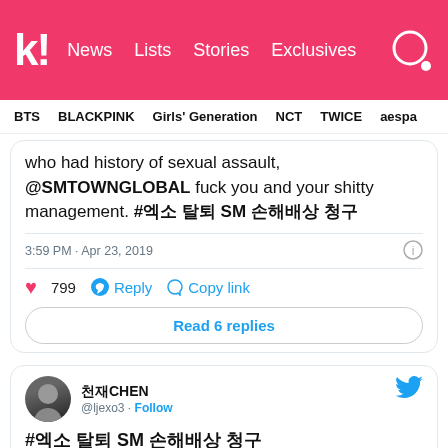k! News  Lists  Stories  Exclusives
BTS  BLACKPINK  Girls' Generation  NCT  TWICE  aespa
who had history of sexual assault, @SMTOWNGLOBAL fuck you and your shitty management. #엑소 탈퇴 SM 손해배상 청구
3:59 PM · Apr 23, 2019
799  Reply  Copy link
Read 6 replies
천재CHEN @ljexo3 · Follow
#엑소 탈퇴 SM 손해배상 청구